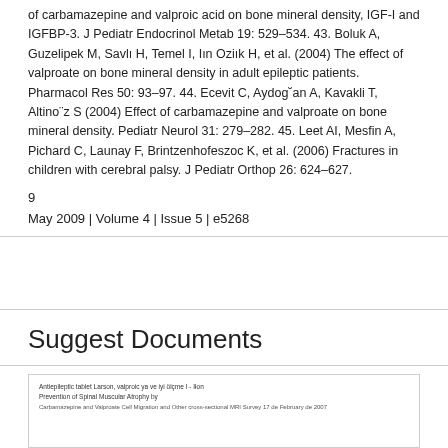of carbamazepine and valproic acid on bone mineral density, IGF-I and IGFBP-3. J Pediatr Endocrinol Metab 19: 529–534. 43. Boluk A, Guzelipek M, Savlı H, Temel I, Iın Oziık H, et al. (2004) The effect of valproate on bone mineral density in adult epileptic patients. Pharmacol Res 50: 93–97. 44. Ecevit C, Aydog˘an A, Kavakli T, Altino¨z S (2004) Effect of carbamazepine and valproate on bone mineral density. Pediatr Neurol 31: 279–282. 45. Leet AI, Mesfin A, Pichard C, Launay F, Brintzenhofeszoc K, et al. (2006) Fractures in children with cerebral palsy. J Pediatr Orthop 26: 624–627.
9
May 2009 | Volume 4 | Issue 5 | e5268
Suggest Documents
[Figure (other): Thumbnail preview of a suggested document with small text lines visible]